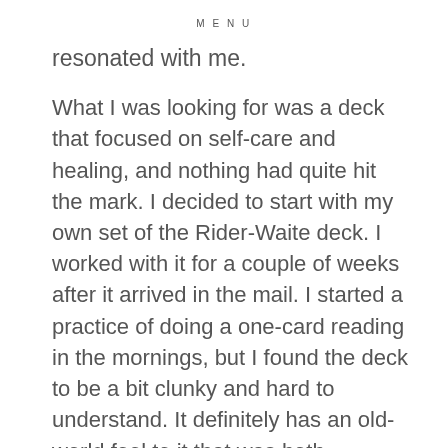MENU
resonated with me.
What I was looking for was a deck that focused on self-care and healing, and nothing had quite hit the mark. I decided to start with my own set of the Rider-Waite deck. I worked with it for a couple of weeks after it arrived in the mail. I started a practice of doing a one-card reading in the mornings, but I found the deck to be a bit clunky and hard to understand. It definitely has an old-world feel to it that was both Eurocentric and almost medieval. Neither of these characteristics connected with a brown Asian boy who grew up on an island in the South Pacific.
Then, I used a deck called “The Wild Unknown” that was fairly popular and featured gorgeous artwork. These